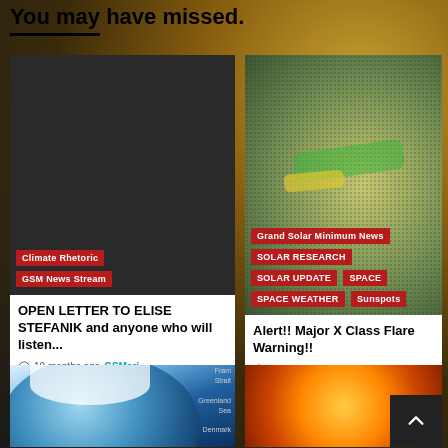You may have missed.
[Figure (photo): Dark/black image with red tags 'Climate Rhetoric' and 'GSM News Stream']
Climate Rhetoric
GSM News Stream
OPEN LETTER TO ELISE STEFANIK and anyone who will listen...
10 months ago  GSMari
[Figure (photo): Solar surface image with green and yellow features, tags: Grand Solar Minimum News, SOLAR RESEARCH, SOLAR UPDATE, SPACE, SPACE WEATHER, Sunspots]
Grand Solar Minimum News
SOLAR RESEARCH
SOLAR UPDATE
SPACE
SPACE WEATHER
Sunspots
Alert!! Major X Class Flare Warning!!
1 year ago  JakeGsm
[Figure (photo): Globe/Earth image showing Arctic region with ocean currents]
[Figure (photo): Solar surface close-up orange/red image]